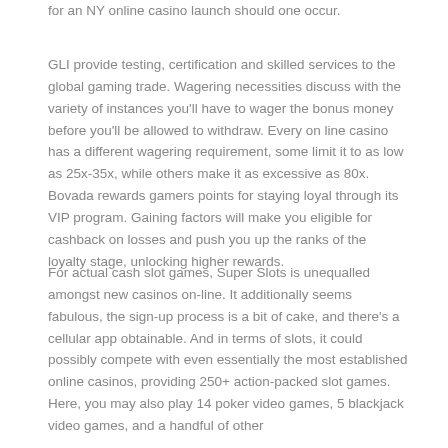for an NY online casino launch should one occur.
GLI provide testing, certification and skilled services to the global gaming trade. Wagering necessities discuss with the variety of instances you'll have to wager the bonus money before you'll be allowed to withdraw. Every on line casino has a different wagering requirement, some limit it to as low as 25x-35x, while others make it as excessive as 80x. Bovada rewards gamers points for staying loyal through its VIP program. Gaining factors will make you eligible for cashback on losses and push you up the ranks of the loyalty stage, unlocking higher rewards.
For actual cash slot games, Super Slots is unequalled amongst new casinos on-line. It additionally seems fabulous, the sign-up process is a bit of cake, and there's a cellular app obtainable. And in terms of slots, it could possibly compete with even essentially the most established online casinos, providing 250+ action-packed slot games. Here, you may also play 14 poker video games, 5 blackjack video games, and a handful of other